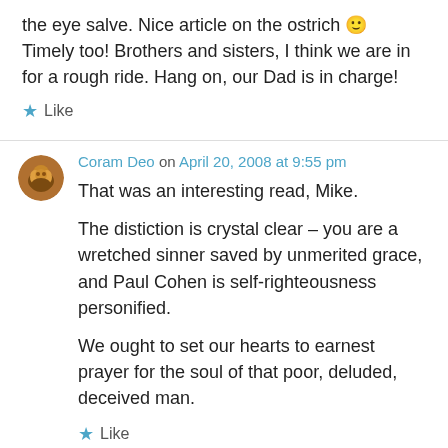the eye salve. Nice article on the ostrich 🙂 Timely too! Brothers and sisters, I think we are in for a rough ride. Hang on, our Dad is in charge!
★ Like
Coram Deo on April 20, 2008 at 9:55 pm
That was an interesting read, Mike.
The distiction is crystal clear – you are a wretched sinner saved by unmerited grace, and Paul Cohen is self-righteousness personified.
We ought to set our hearts to earnest prayer for the soul of that poor, deluded, deceived man.
★ Like